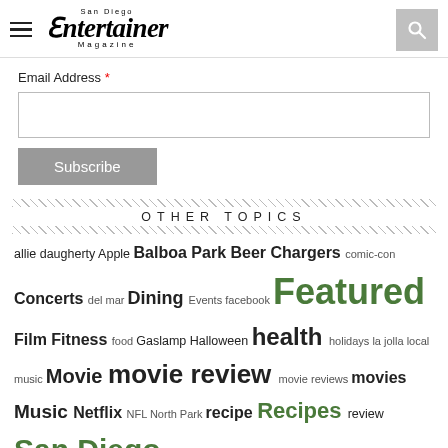San Diego Entertainer Magazine — navigation header with hamburger menu and search button
Email Address *
Subscribe
OTHER TOPICS
allie daugherty Apple Balboa Park Beer Chargers comic-con Concerts del mar Dining Events facebook Featured Film Fitness food Gaslamp Halloween health holidays la jolla local music Movie movie review movie reviews movies Music Netflix NFL North Park recipe Recipes review San Diego San Diego Chargers san diego dining San Diego events space summer technology Theater things to do Thirsty Thursday This Weekend in San Diego travel video